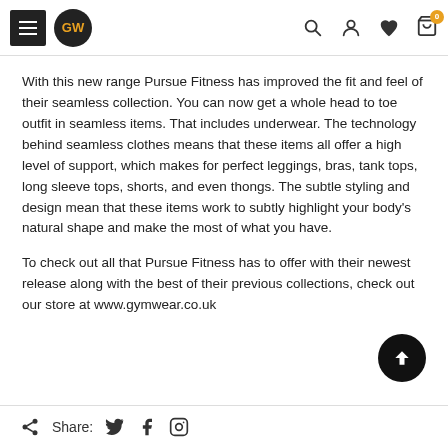GW [navigation header with hamburger menu, logo, search, account, wishlist, cart icons]
With this new range Pursue Fitness has improved the fit and feel of their seamless collection. You can now get a whole head to toe outfit in seamless items. That includes underwear. The technology behind seamless clothes means that these items all offer a high level of support, which makes for perfect leggings, bras, tank tops, long sleeve tops, shorts, and even thongs. The subtle styling and design mean that these items work to subtly highlight your body's natural shape and make the most of what you have.
To check out all that Pursue Fitness has to offer with their newest release along with the best of their previous collections, check out our store at www.gymwear.co.uk
Share: [Twitter] [Facebook] [Instagram]